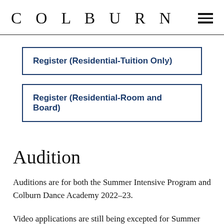COLBURN
Register (Residential-Tuition Only)
Register (Residential-Room and Board)
Audition
Auditions are for both the Summer Intensive Program and Colburn Dance Academy 2022–23.
Video applications are still being excepted for Summer 2022. Please send audition videos to